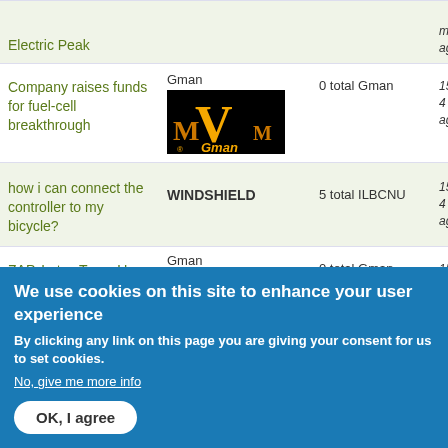| Topic | Forum | Votes | Time |
| --- | --- | --- | --- |
| Electric Peak | Gman [logo] | 0 total Gman | 15 years 4 months ago |
| Company raises funds for fuel-cell breakthrough | Gman [logo] | 0 total Gman | 15 years 4 months ago |
| how i can connect the controller to my bicycle? | WINDSHIELD | 5 total ILBCNU | 15 years 4 months ago |
| ZAP, Lotus Team Up for Electric... | Gman [logo] | 0 total Gman | 15 years 4 months ago |
We use cookies on this site to enhance your user experience
By clicking any link on this page you are giving your consent for us to set cookies.
No, give me more info
OK, I agree